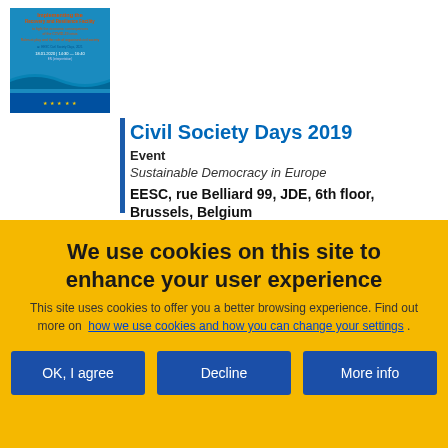[Figure (thumbnail): Thumbnail image of an EU Recovery and Resilience Facility webinar event page with blue background and EU logo]
Civil Society Days 2019
Event
Sustainable Democracy in Europe
EESC, rue Belliard 99, JDE, 6th floor, Brussels, Belgium
We use cookies on this site to enhance your user experience
This site uses cookies to offer you a better browsing experience. Find out more on how we use cookies and how you can change your settings .
OK, I agree
Decline
More info